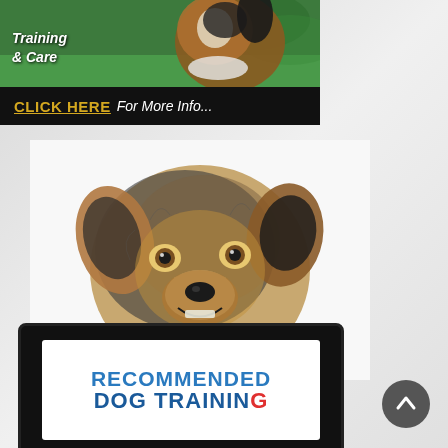[Figure (photo): Top banner advertisement for Shepherd Training and Care with a photo of a collie/shepherd dog on a green background, with a black bar below containing a call-to-action: CLICK HERE For More Info...]
[Figure (photo): Main large photo of an Australian Shepherd dog with merle coloring, looking directly at the camera, appearing to smile, on a white/light grey background]
[Figure (photo): Tablet device showing text RECOMMENDED DOG TRAINING at the bottom of the page]
[Figure (illustration): Circular scroll-to-top button (grey circle with upward chevron arrow) in the bottom right corner]